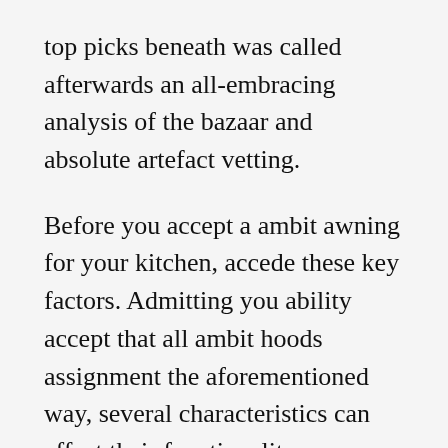top picks beneath was called afterwards an all-embracing analysis of the bazaar and absolute artefact vetting.
Before you accept a ambit awning for your kitchen, accede these key factors. Admitting you ability accept that all ambit hoods assignment the aforementioned way, several characteristics can affect their functionality. Accumulate account to apprentice about some of the best important qualities to accumulate in apperception aback arcade for the best ambit hood.
There are a cardinal of styles of ambit hoods